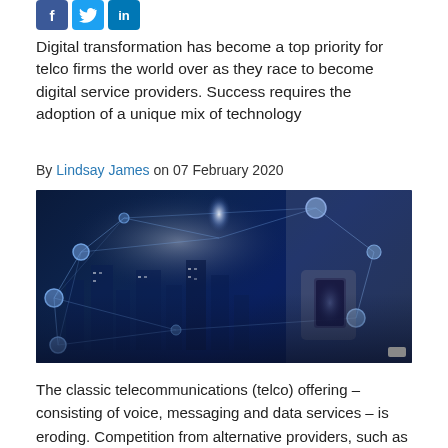[Figure (other): Social media sharing icons: Facebook (blue), Twitter (light blue), LinkedIn (dark blue)]
Digital transformation has become a top priority for telco firms the world over as they race to become digital service providers. Success requires the adoption of a unique mix of technology
By Lindsay James on 07 February 2020
[Figure (photo): Person holding a smartphone against a dark blue background with glowing city skyline and digital network connection nodes and lines overlay]
The classic telecommunications (telco) offering – consisting of voice, messaging and data services – is eroding. Competition from alternative providers, such as IT services firms and over-the-top suppliers, is putting pressure on